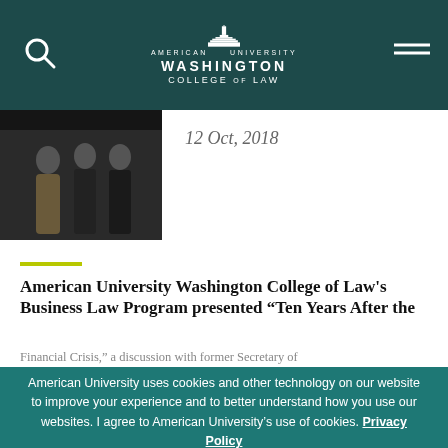American University Washington College of Law
[Figure (photo): Photo of two people in formal attire at an event, dark background]
12 Oct, 2018
American University Washington College of Law’s Business Law Program presented “Ten Years After the Financial Crisis,” a discussion with former Secretary of the Treasury Timothy Geithner. The discussion, in which they discussed the economic and political legacy of the financial crisis and future economic challenges, was moderated by American University President Sylvia M. Burwell.
American University uses cookies and other technology on our website to improve your experience and to better understand how you use our websites. I agree to American University’s use of cookies. Privacy Policy
AGREE
READ MORE »